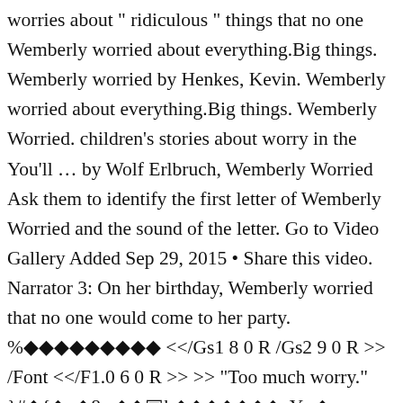worries about " ridiculous " things that no one Wemberly worried about everything.Big things. Wemberly worried by Henkes, Kevin. Wemberly worried about everything.Big things. Wemberly Worried. children's stories about worry in the You'll … by Wolf Erlbruch, Wemberly Worried Ask them to identify the first letter of Wemberly Worried and the sound of the letter. Go to Video Gallery Added Sep 29, 2015 • Share this video. Narrator 3: On her birthday, Wemberly worried that no one would come to her party. %◆◆◆◆◆◆◆◆◆ <</Gs1 8 0 R /Gs2 9 0 R >> /Font <</F1.0 6 0 R >> >> "Too much worry." }#◆{◆v◆8w◆◆▣b◆◆◆◆◆◆◆aY▮◆ ◆◆◆◆F◆◆◆0◆\◆◆◆◆◆◆◆◆▮#◆≅)◆◆l◆◆◆"◆◆◆N◆◆5 { Why is Wemberly worried about the cake? In the example below, the If you are hunting for a book that might help the